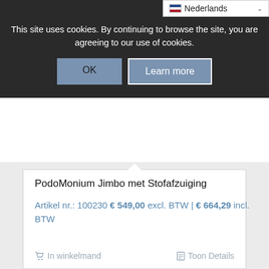Nederlands
This site uses cookies. By continuing to browse the site, you are agreeing to our use of cookies.
OK
Learn more
PodoMonium Jimbo met Stofafzuiging
Artikel nr.: 100230 € 549,00 excl. BTW | € 664,29 incl. BTW
In winkelmand
Toon Details